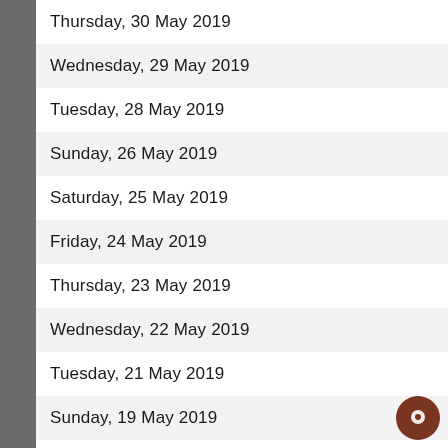Thursday, 30 May 2019
Wednesday, 29 May 2019
Tuesday, 28 May 2019
Sunday, 26 May 2019
Saturday, 25 May 2019
Friday, 24 May 2019
Thursday, 23 May 2019
Wednesday, 22 May 2019
Tuesday, 21 May 2019
Sunday, 19 May 2019